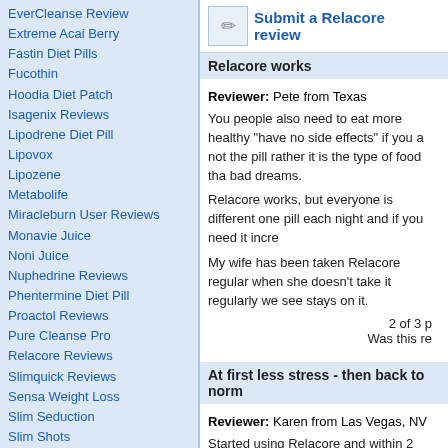EverCleanse Review
Extreme Acai Berry
Fastin Diet Pills
Fucothin
Hoodia Diet Patch
Isagenix Reviews
Lipodrene Diet Pill
Lipovox
Lipozene
Metabolife
Miracleburn User Reviews
Monavie Juice
Noni Juice
Nuphedrine Reviews
Phentermine Diet Pill
Proactol Reviews
Pure Cleanse Pro
Relacore Reviews
Slimquick Reviews
Sensa Weight Loss
Slim Seduction
Slim Shots
The Lemonade Diet
Trislim
Vital Acai Berry
Wu Long Tea
Wu Yi Tea
Zrii Reviews
Submit a Relacore review
Relacore works
Reviewer: Pete from Texas
You people also need to eat more healthy &quot;have no side effects&quot; if you a not the pill rather it is the type of food tha bad dreams.
Relacore works, but everyone is different one pill each night and if you need it incre
My wife has been taken Relacore regular when she doesn't take it regularly we see stays on it.
2 of 3 p
Was this re
At first less stress - then back to norm
Reviewer: Karen from Las Vegas, NV
Started using Relacore and within 2 days a better mood. No side effects. I purcha